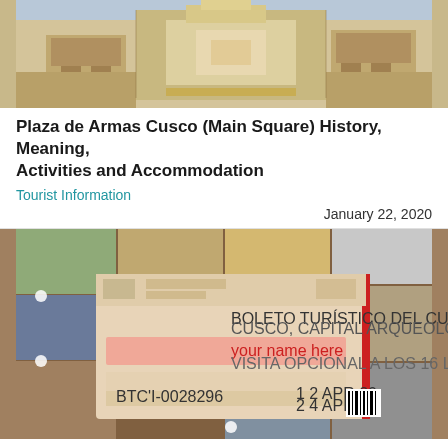[Figure (illustration): Aerial/bird's eye view illustration of an ancient plaza or archaeological site with stone buildings and yellow/tan structures]
Plaza de Armas Cusco (Main Square) History, Meaning, Activities and Accommodation
Tourist Information
January 22, 2020
[Figure (photo): Boleto Turístico del Cusco (tourist ticket for Cusco) with 'your name here' text in red, ticket number BTC'I-0028296, surrounded by collage of Cusco tourist sites and a barcode]
Tourist Ticket Cusco in Peru